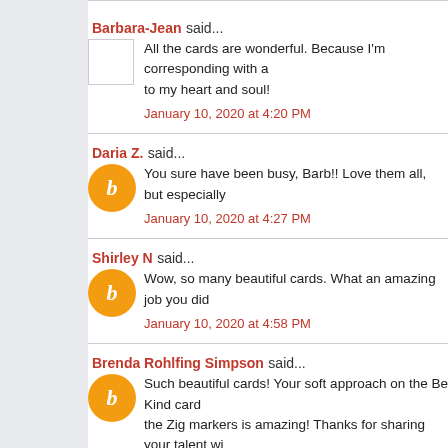Barbara-Jean said...
All the cards are wonderful. Because I'm corresponding with a to my heart and soul!
January 10, 2020 at 4:20 PM
Daria Z. said...
You sure have been busy, Barb!! Love them all, but especially
January 10, 2020 at 4:27 PM
Shirley N said...
Wow, so many beautiful cards. What an amazing job you did
January 10, 2020 at 4:58 PM
Brenda Rohlfing Simpson said...
Such beautiful cards! Your soft approach on the Be Kind card the Zig markers is amazing! Thanks for sharing your talent wi
January 10, 2020 at 5:08 PM